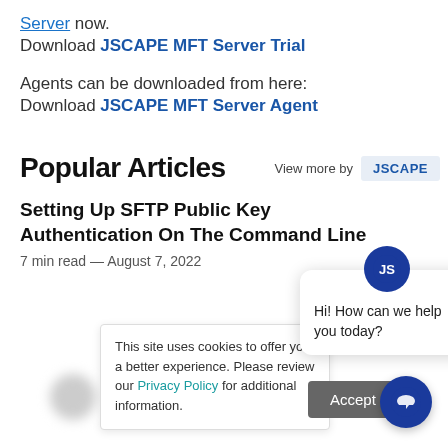Server now.
Download JSCAPE MFT Server Trial
Agents can be downloaded from here:
Download JSCAPE MFT Server Agent
Popular Articles
View more by JSCAPE
Setting Up SFTP Public Key Authentication On The Command Line
7 min read — August 7, 2022
This site uses cookies to offer you a better experience. Please review our Privacy Policy for additional information.
Hi! How can we help you today?